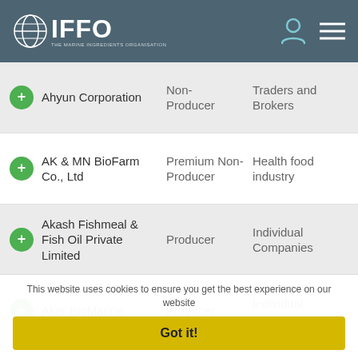IFFO - The Marine Ingredients Organisation
Ahyun Corporation | Non-Producer | Traders and Brokers
AK & MN BioFarm Co., Ltd | Premium Non-Producer | Health food industry
Akash Fishmeal & Fish Oil Private Limited | Producer | Individual Companies
Aker BioMarine | Producer | Individual Companies
This website uses cookies to ensure you get the best experience on our website
Got it!